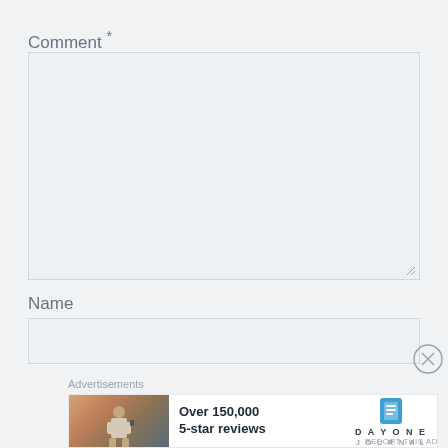Comment *
[Figure (screenshot): Large empty comment text area input box with resize handle at bottom right]
Name
[Figure (screenshot): Single-line name text input box]
Advertisements
[Figure (screenshot): Advertisement banner for Day One Journal showing a person photographing a landscape and text 'Over 150,000 5-star reviews' with the Day One Journal logo]